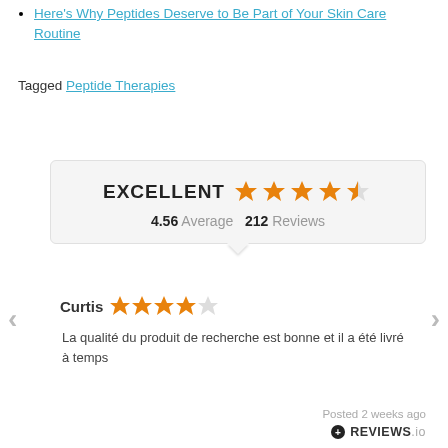Here's Why Peptides Deserve to Be Part of Your Skin Care Routine
Tagged Peptide Therapies
[Figure (infographic): Rating widget showing EXCELLENT with 4.5 star rating, 4.56 Average, 212 Reviews]
Curtis ★★★★☆
La qualité du produit de recherche est bonne et il a été livré à temps
Posted 2 weeks ago
[Figure (logo): REVIEWS.io logo]